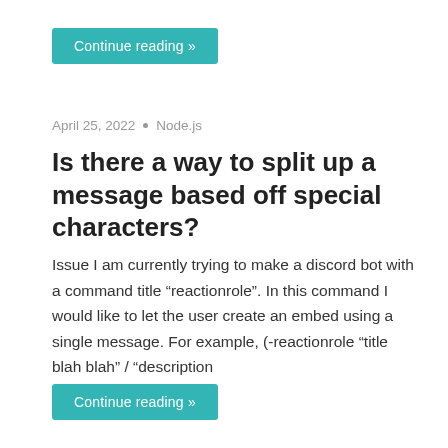Continue reading »
April 25, 2022 • Node.js
Is there a way to split up a message based off special characters?
Issue I am currently trying to make a discord bot with a command title "reactionrole". In this command I would like to let the user create an embed using a single message. For example, (-reactionrole "title blah blah" / "description
Continue reading »